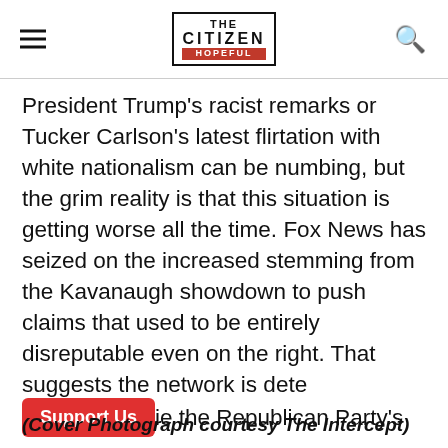THE CITIZEN IS HOPEFUL
President Trump's racist remarks or Tucker Carlson's latest flirtation with white nationalism can be numbing, but the grim reality is that this situation is getting worse all the time. Fox News has seized on the increased stemming from the Kavanaugh showdown to push claims that used to be entirely disreputable even on the right. That suggests the network is dete[rmining] the Republican Party's to Trumpism and defin[ing] racial grievance as its core ideology.
(Cover Photograph courtesy The Intercept)